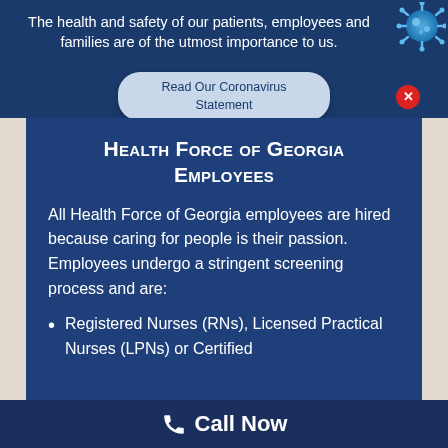The health and safety of our patients, employees and families are of the utmost importance to us.
[Figure (illustration): Blue coronavirus/COVID-19 particle illustration in top-right corner]
Read Our Coronavirus Statement
Health Force of Georgia Employees
All Health Force of Georgia employees are hired because caring for people is their passion. Employees undergo a stringent screening process and are:
Registered Nurses (RNs), Licensed Practical Nurses (LPNs) or Certified
Call Now